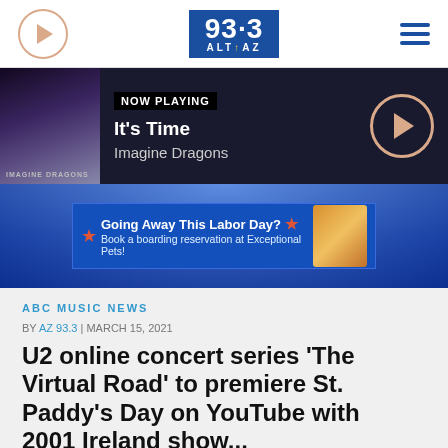93.3 ALT AZ — radio station website header with play button and hamburger menu
[Figure (screenshot): Now Playing bar: Imagine Dragons album art, NOW PLAYING label, It's Time, Imagine Dragons, with a circular play button]
[Figure (infographic): Advertisement banner: Going Away This Labor Day? Book a boarding reservation at Exceptional Pets! with dog image on blue concert crowd background]
ABC MUSIC NEWS
BY AZ 93.3 | MARCH 15, 2021
U2 online concert series 'The Virtual Road' to premiere St. Paddy's Day on YouTube with 2001 Ireland show...